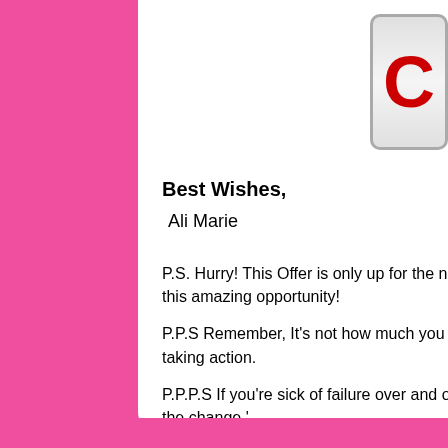Best Wishes,
Ali Marie
P.S. Hurry! This Offer is only up for the next [time]. Don't miss this amazing opportunity!
P.P.S Remember, It's not how much you study, it's about taking action.
P.P.P.S If you're sick of failure over and over, you have to be the change.'